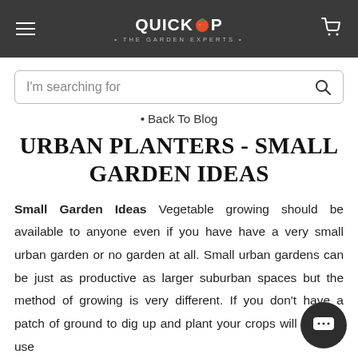QUICKCROP • THE GARDEN EXPERTS •
I'm searching for
• Back To Blog
URBAN PLANTERS - SMALL GARDEN IDEAS
Small Garden Ideas Vegetable growing should be available to anyone even if you have have a very small urban garden or no garden at all. Small urban gardens can be just as productive as larger suburban spaces but the method of growing is very different. If you don't have a patch of ground to dig up and plant your crops will need to use